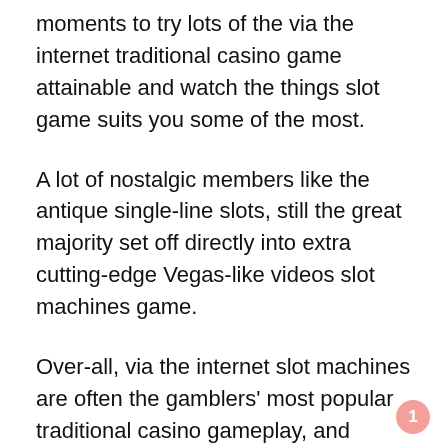moments to try lots of the via the internet traditional casino game attainable and watch the things slot game suits you some of the most.
A lot of nostalgic members like the antique single-line slots, still the great majority set off directly into extra cutting-edge Vegas-like videos slot machines game.
Over-all, via the internet slot machines are often the gamblers' most popular traditional casino gameplay, and additionally at the time of annual vacations want Holiday season slot machines turned into further trendy like members can be found increased first